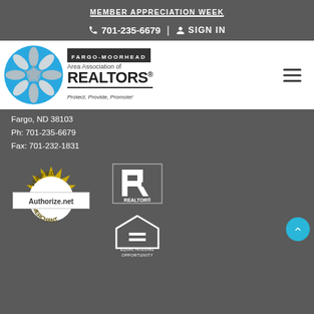MEMBER APPRECIATION WEEK
📞 701-235-6679 | 👤 SIGN IN
[Figure (logo): Fargo-Moorhead Area Association of REALTORS® logo with blue star emblem. Tagline: Protect, Provide, Promote!]
Fargo, ND 58103
Ph: 701-235-6679
Fax: 701-232-1831
[Figure (logo): Authorize.net Verified Merchant seal — gold starburst badge with white circle center]
[Figure (logo): REALTOR® block R logo in white on dark background]
[Figure (logo): Equal Housing Opportunity logo — house with equal sign, text EQUAL HOUSING OPPORTUNITY]